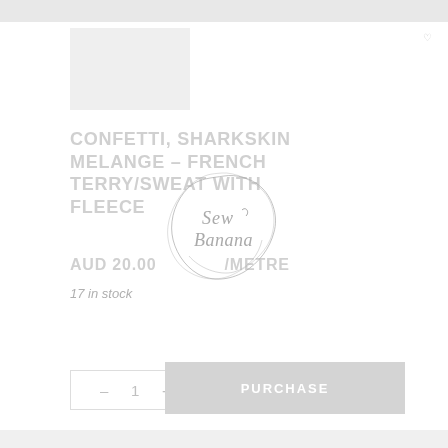[Figure (screenshot): E-commerce product listing page screenshot showing a fabric product]
CONFETTI, SHARKSKIN MELANGE – FRENCH TERRY/SWEAT WITH FLEECE
AUD 20.00 /METRE
17 in stock
[Figure (logo): Sew Banana logo — circular script text with decorative hand-drawn border]
- 1 +
PURCHASE